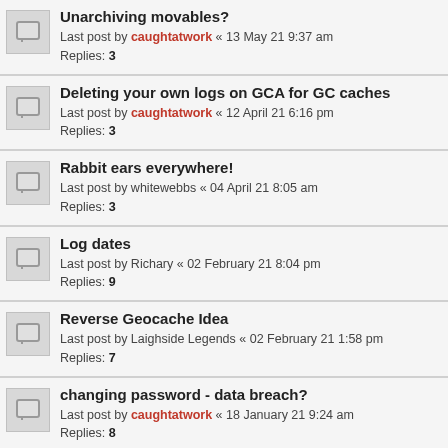Unarchiving movables? Last post by caughtatwork « 13 May 21 9:37 am Replies: 3
Deleting your own logs on GCA for GC caches Last post by caughtatwork « 12 April 21 6:16 pm Replies: 3
Rabbit ears everywhere! Last post by whitewebbs « 04 April 21 8:05 am Replies: 3
Log dates Last post by Richary « 02 February 21 8:04 pm Replies: 9
Reverse Geocache Idea Last post by Laighside Legends « 02 February 21 1:58 pm Replies: 7
changing password - data breach? Last post by caughtatwork « 18 January 21 9:24 am Replies: 8
Importing lab caches Last post by Richary « 12 January 21 10:02 pm Replies: 9
Main map navigation Last post by Team737 « 17 December 20 10:41 am Replies: 2
Emergency Network Maintenance Notification - T20201207.0006 (Friday from 10:00pm 11/12/2020) Last post by caughtatwork « 10 December 20 8:39 am